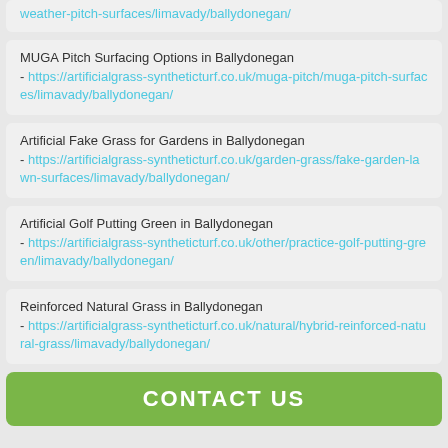weather-pitch-surfaces/limavady/ballydonegan/ - https://artificialgrass-syntheticturf.co.uk/muga-pitch/muga-pitch-surfaces/limavady/ballydonegan/
Artificial Fake Grass for Gardens in Ballydonegan - https://artificialgrass-syntheticturf.co.uk/garden-grass/fake-garden-lawn-surfaces/limavady/ballydonegan/
Artificial Golf Putting Green in Ballydonegan - https://artificialgrass-syntheticturf.co.uk/other/practice-golf-putting-green/limavady/ballydonegan/
Reinforced Natural Grass in Ballydonegan - https://artificialgrass-syntheticturf.co.uk/natural/hybrid-reinforced-natural-grass/limavady/ballydonegan/
CONTACT US